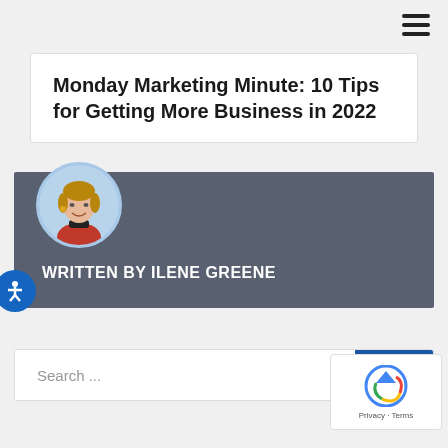[Figure (other): Hamburger menu icon (three horizontal lines) in top-right corner]
Monday Marketing Minute: 10 Tips for Getting More Business in 2022
[Figure (photo): Author banner with dark gray background showing circular portrait photo of Ilene Greene and text 'WRITTEN BY ILENE GREENE']
WRITTEN BY ILENE GREENE
Search ...
[Figure (other): Google reCAPTCHA widget overlay in bottom-right corner with reCAPTCHA logo, Privacy and Terms links]